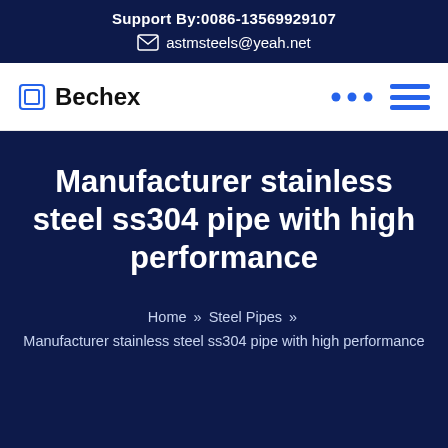Support By:0086-13569929107
astmsteels@yeah.net
Bechex
Manufacturer stainless steel ss304 pipe with high performance
Home » Steel Pipes » Manufacturer stainless steel ss304 pipe with high performance